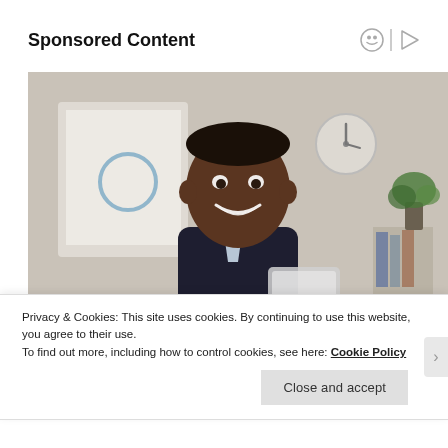Sponsored Content
[Figure (photo): A smiling Black man in a dark suit holding a tablet, standing in an office with a whiteboard, wall clock, and plant in the background. Sponsored content advertisement photo.]
Privacy & Cookies: This site uses cookies. By continuing to use this website, you agree to their use.
To find out more, including how to control cookies, see here: Cookie Policy
Close and accept